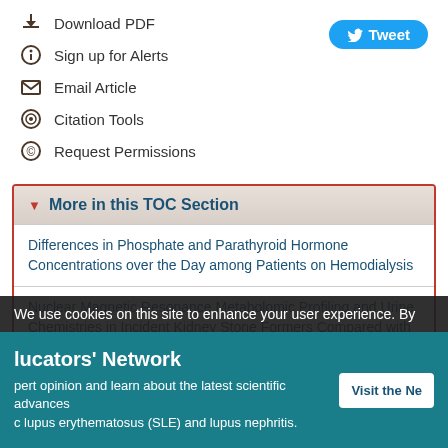Download PDF
Tweet
Sign up for Alerts
Email Article
Citation Tools
Request Permissions
More in this TOC Section
Differences in Phosphate and Parathyroid Hormone Concentrations over the Day among Patients on Hemodialysis
Nuclear Magnetic Resonance Metabolomic Profiling and Urine Chemistries in Incident Kidney Stone Formers Compared with Controls
We use cookies on this site to enhance your user experience. By
lucators' Network
pert opinion and learn about the latest scientific advances
c lupus erythematosus (SLE) and lupus nephritis.
Visit the Ne